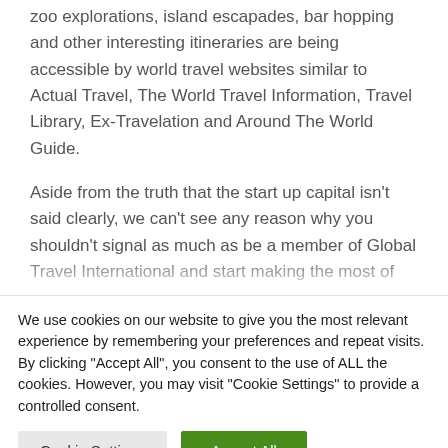zoo explorations, island escapades, bar hopping and other interesting itineraries are being accessible by world travel websites similar to Actual Travel, The World Travel Information, Travel Library, Ex-Travelation and Around The World Guide.
Aside from the truth that the start up capital isn't said clearly, we can't see any reason why you shouldn't signal as much as be a member of Global Travel International and start making the most of the plenty of membership benefits provided by the company.
We use cookies on our website to give you the most relevant experience by remembering your preferences and repeat visits. By clicking "Accept All", you consent to the use of ALL the cookies. However, you may visit "Cookie Settings" to provide a controlled consent.